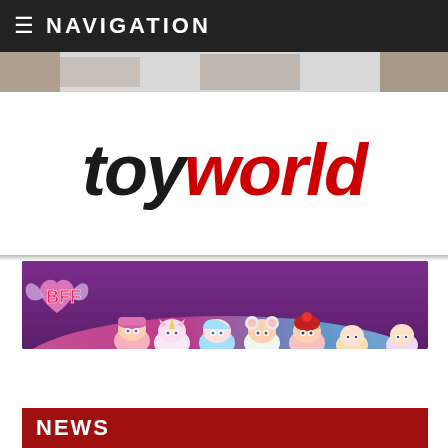≡ NAVIGATION
[Figure (screenshot): Top image strip showing partial toy/product images]
[Figure (logo): toyworld logo — 'toy' in black italic bold and 'world' in red italic bold]
[Figure (photo): BFF banner advertisement on purple background with cartoon doll characters peeking up]
NEWS